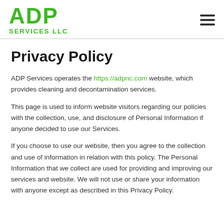ADP SERVICES LLC
Privacy Policy
ADP Services operates the https://adpnc.com website, which provides cleaning and decontamination services.
This page is used to inform website visitors regarding our policies with the collection, use, and disclosure of Personal Information if anyone decided to use our Services.
If you choose to use our website, then you agree to the collection and use of information in relation with this policy. The Personal Information that we collect are used for providing and improving our services and website. We will not use or share your information with anyone except as described in this Privacy Policy.